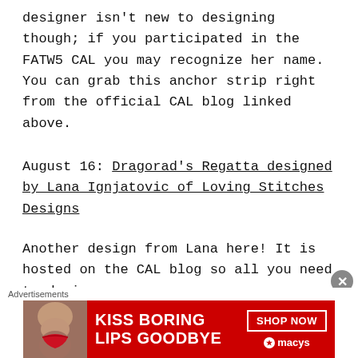designer isn't new to designing though; if you participated in the FATW5 CAL you may recognize her name. You can grab this anchor strip right from the official CAL blog linked above.
August 16: Dragorad's Regatta designed by Lana Ignjatovic of Loving Stitches Designs
Another design from Lana here! It is hosted on the CAL blog so all you need to do is [follow the link]...
[Figure (other): Advertisement banner for Macy's: 'KISS BORING LIPS GOODBYE' with SHOP NOW button and Macy's logo on red background with photo of woman]